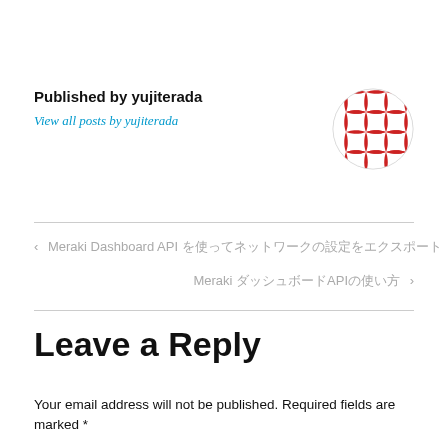Published by yujiterada
View all posts by yujiterada
[Figure (illustration): Circular avatar with red geometric pattern (star/cross tessellation) on white background]
< Meraki Dashboard API を使ってネットワークの設定をエクスポート
Meraki ダッシュボードAPIの使い方 >
Leave a Reply
Your email address will not be published. Required fields are marked *